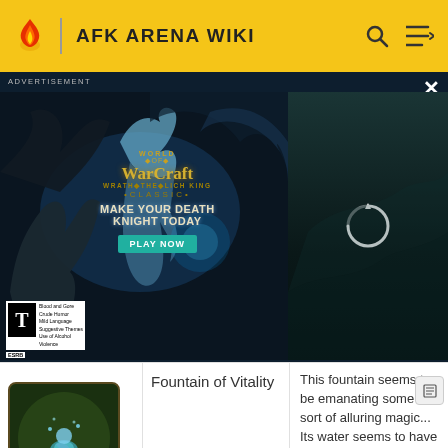AFK ARENA WIKI
[Figure (screenshot): World of Warcraft: Wrath of the Lich King Classic advertisement with ESRB Teen rating and a video placeholder panel on the right]
| Image | Name | Description |
| --- | --- | --- |
| [Fountain of Vitality image] | Fountain of Vitality | This fountain seems to be emanating some sort of alluring magic... Its water seems to have healing properties... I feel revitalized! All surviving heroes recover 50% health. |